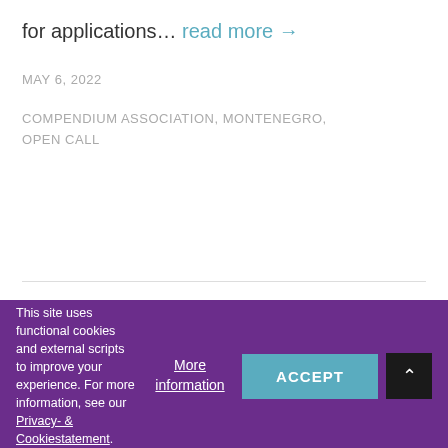for applications… read more →
MAY 6, 2022
COMPENDIUM ASSOCIATION, MONTENEGRO, OPEN CALL
This site uses functional cookies and external scripts to improve your experience. For more information, see our Privacy- & Cookiestatement.
More information
ACCEPT